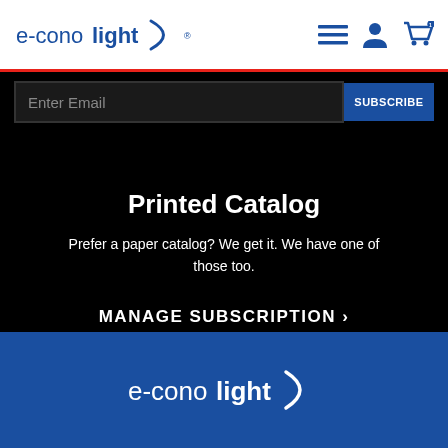e-conolight navigation header with logo, menu, account, and cart icons
Enter Email | SUBSCRIBE
Printed Catalog
Prefer a paper catalog? We get it. We have one of those too.
MANAGE SUBSCRIPTION >
DOWNLOAD CURRENT CATALOG >
e-conolight logo on blue footer